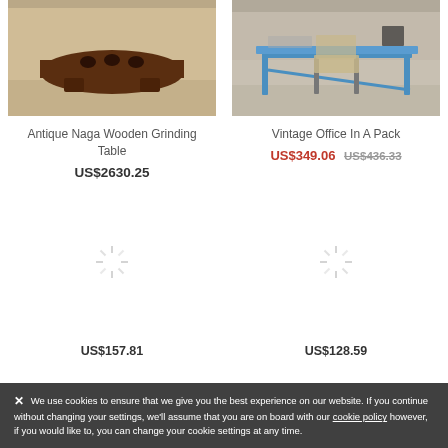[Figure (photo): Photo of an Antique Naga Wooden Grinding Table, a dark brown wide flat wooden object]
[Figure (photo): Photo of a Vintage Office In A Pack with blue metal desk and folding chair]
Antique Naga Wooden Grinding Table
US$2630.25
Vintage Office In A Pack
US$349.06  US$436.33
[Figure (photo): Loading spinner placeholder for product image]
US$157.81
[Figure (photo): Loading spinner placeholder for product image]
US$128.59
We use cookies to ensure that we give you the best experience on our website. If you continue without changing your settings, we'll assume that you are on board with our cookie policy however, if you would like to, you can change your cookie settings at any time.